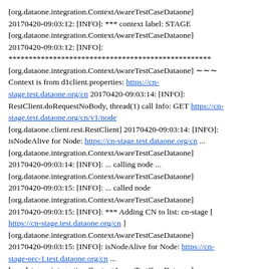[org.dataone.integration.ContextAwareTestCaseDataone] 20170420-09:03:12: [INFO]: *** context label: STAGE [org.dataone.integration.ContextAwareTestCaseDataone] 20170420-09:03:12: [INFO]: ************************************************** [org.dataone.integration.ContextAwareTestCaseDataone] ~~~ Context is from d1client.properties: https://cn-stage.test.dataone.org/cn 20170420-09:03:14: [INFO]: RestClient.doRequestNoBody, thread(1) call Info: GET https://cn-stage.test.dataone.org/cn/v1/node [org.dataone.client.rest.RestClient] 20170420-09:03:14: [INFO]: isNodeAlive for Node: https://cn-stage.test.dataone.org/cn ... [org.dataone.integration.ContextAwareTestCaseDataone] 20170420-09:03:14: [INFO]: ... calling node ... [org.dataone.integration.ContextAwareTestCaseDataone] 20170420-09:03:15: [INFO]: ... called node [org.dataone.integration.ContextAwareTestCaseDataone] 20170420-09:03:15: [INFO]: *** Adding CN to list: cn-stage [ https://cn-stage.test.dataone.org/cn ] [org.dataone.integration.ContextAwareTestCaseDataone] 20170420-09:03:15: [INFO]: isNodeAlive for Node: https://cn-stage-orc-1.test.dataone.org/cn ... [org.dataone.integration.ContextAwareTestCaseDataone] 20170420-09:03:15: [INFO]: ... calling node ... [org.dataone.integration.ContextAwareTestCaseDataone]